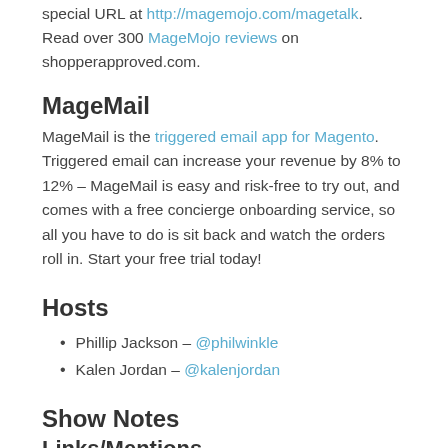special URL at http://magemojo.com/magetalk. Read over 300 MageMojo reviews on shopperapproved.com.
MageMail
MageMail is the triggered email app for Magento. Triggered email can increase your revenue by 8% to 12% – MageMail is easy and risk-free to try out, and comes with a free concierge onboarding service, so all you have to do is sit back and watch the orders roll in. Start your free trial today!
Hosts
Phillip Jackson – @philwinkle
Kalen Jordan – @kalenjordan
Show Notes
Links/Mentions